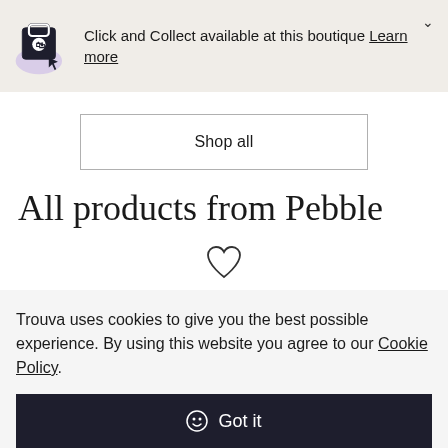Click and Collect available at this boutique Learn more
Shop all
All products from Pebble
[Figure (illustration): Heart / wishlist outline icon]
[Figure (photo): Partial product images (food items) at bottom of page]
Trouva uses cookies to give you the best possible experience. By using this website you agree to our Cookie Policy.
Got it